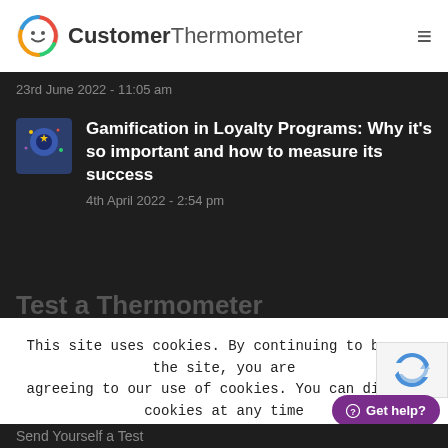CustomerThermometer
23rd June 2022 - 11:05 am
Gamification in Loyalty Programs: Why it's so important and how to measure its success
4th April 2022 - 2:54 pm
Test a Thermometer
Email
This site uses cookies. By continuing to browse the site, you are agreeing to our use of cookies. You can disable cookies at any time within your browser settings.
Accept
Learn more
Get help?
Send Yourself a Test